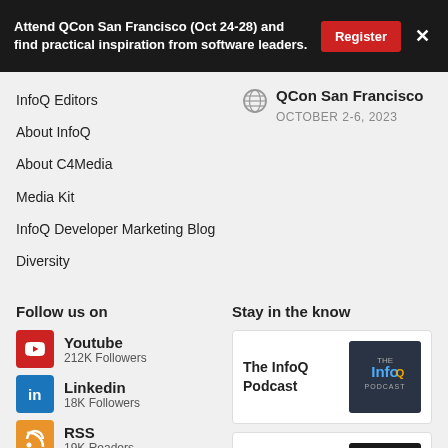Attend QCon San Francisco (Oct 24-28) and find practical inspiration from software leaders.
InfoQ Editors
About InfoQ
About C4Media
Media Kit
InfoQ Developer Marketing Blog
Diversity
QCon San Francisco
OCTOBER 2-6, 2023
Follow us on
Youtube
212K Followers
Linkedin
18K Followers
RSS
19K Readers
Stay in the know
The InfoQ Podcast